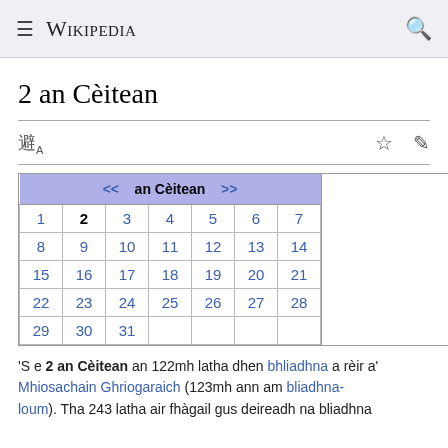Wikipedia
2 an Cèitean
[Figure (table-as-image): Calendar for an Cèitean (May) showing dates 1-31 in a 7-column grid with date 2 highlighted in bold. Navigation arrows << and >> on either side of the month name.]
'S e 2 an Cèitean an 122mh latha dhen bhliadhna a rèir a' Mhiosachain Ghriogaraich (123mh ann am bliadhna-loum). Tha 243 latha air fhàgail gus deireadh na bliadhna.